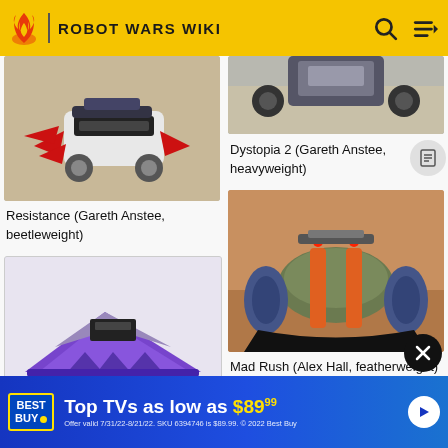ROBOT WARS WIKI
[Figure (photo): Resistance robot by Gareth Anstee, beetleweight - a combat robot with red spike-like weapons and white body]
Resistance (Gareth Anstee, beetleweight)
[Figure (photo): Euphoria by Isaac Sharp, featherweight - a purple wedge-shaped combat robot]
Euphoria (Isaac Sharp, featherweight)
[Figure (photo): Dystopia 2 by Gareth Anstee, heavyweight - partial robot image at top]
Dystopia 2 (Gareth Anstee, heavyweight)
[Figure (photo): Mad Rush by Alex Hall, featherweight - an orange and black combat robot with blue wheels]
Mad Rush (Alex Hall, featherweight)
[Figure (photo): Partially visible robot image at bottom right]
Top TVs as low as $89.99
Offer valid 7/31/22-8/21/22. SKU 6394746 is $89.99. © 2022 Best Buy